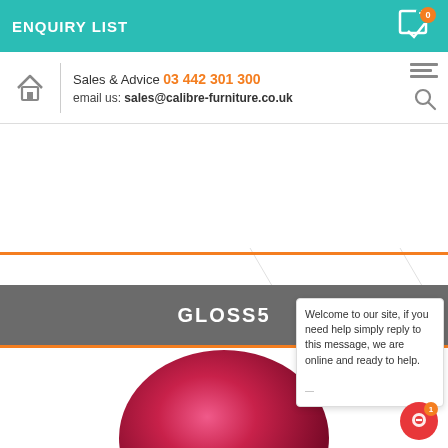ENQUIRY LIST
Sales & Advice 03 442 301 300
email us: sales@calibre-furniture.co.uk
GLOSS5
Welcome to our site, if you need help simply reply to this message, we are online and ready to help.
[Figure (photo): Pink/red rounded chair product image, cropped showing upper portion]